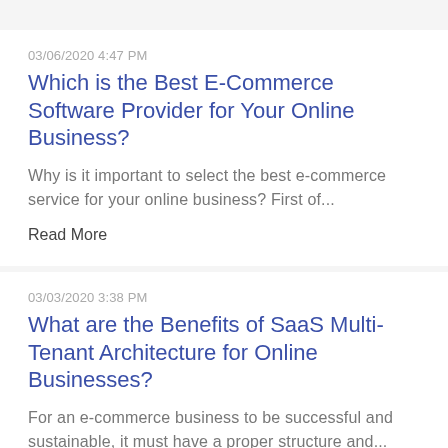03/06/2020 4:47 PM
Which is the Best E-Commerce Software Provider for Your Online Business?
Why is it important to select the best e-commerce service for your online business? First of...
Read More
03/03/2020 3:38 PM
What are the Benefits of SaaS Multi-Tenant Architecture for Online Businesses?
For an e-commerce business to be successful and sustainable, it must have a proper structure and...